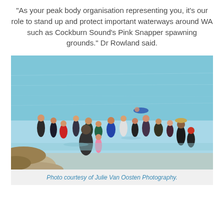“As your peak body organisation representing you, it’s our role to stand up and protect important waterways around WA such as Cockburn Sound’s Pink Snapper spawning grounds.” Dr Rowland said.
[Figure (photo): A crowd of people wading and swimming in shallow coastal water near rocky shores on a sunny day.]
Photo courtesy of Julie Van Oosten Photography.